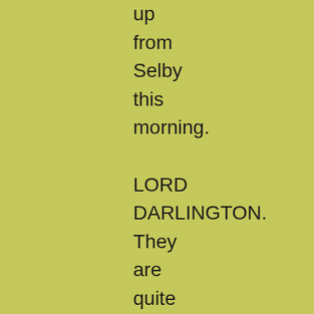up from Selby this morning. LORD DARLINGTON. They are quite perfect. [Sees a fan lying on the table.] And what a